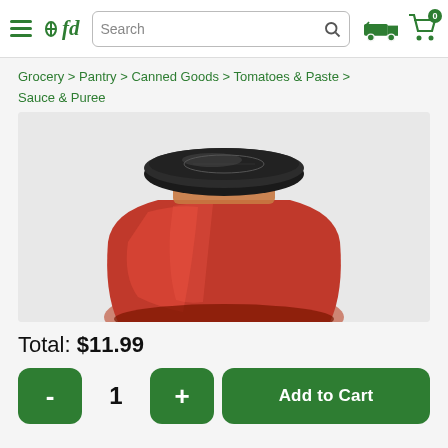fd | Search | delivery icon | cart 0
Grocery > Pantry > Canned Goods > Tomatoes & Paste > Sauce & Puree
[Figure (photo): Close-up of a glass jar of red tomato sauce with a black lid, photographed against a light grey background. Only the top portion of the jar is visible.]
Total: $11.99
- 1 + Add to Cart